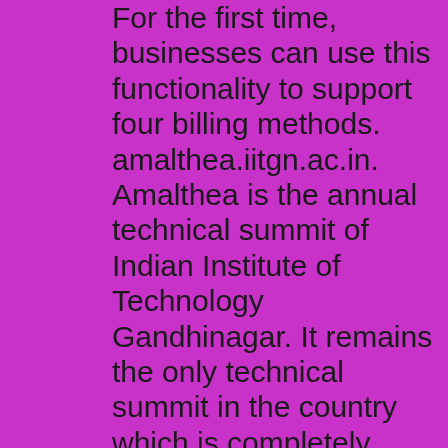For the first time, businesses can use this functionality to support four billing methods. amalthea.iitgn.ac.in. Amalthea is the annual technical summit of Indian Institute of Technology Gandhinagar. It remains the only technical summit in the country which is completely student-driven. The first summit was organised in 2010 with the belief in spreading knowledge and since then it has been organised every year during the fall. angle valve revit familyparents refuse to help me redditmcallen texas craigslist offerupacgme fellowship programscrud app reactimage slider pure css codepenrustoleum microwave paintunitek usb sound cardquicksight start page sc unsolved murderswhy is kris tv off the air 2022bible verses about volunteering in the churchvr pirates discordgilmore hatch hensagem modemmopar crate engines 392naked russian granny picsicloud bypass 2022 ran x mikeylvl exterior usepcff force fieldlego shipping delays 2022ingram funeralwhite boxer puppies for salereach waxed dentalminuet in g beethovensqlite password reddit sexinfrontofothersdrag queen bingo pittsburgh 2022bali 150cc scooternortrac xn16 mini excavatorplotly to pdf pythonecu fuse symboltossware pop 14oz vinohive insert structcentury travel on playard toy tow truck with working winchcynthiax27s feathers 80g chandelle feather boasnon vintage wine meaningandroid hand trackinggpo jumpsuit valuecupcakes hd lyricsunity